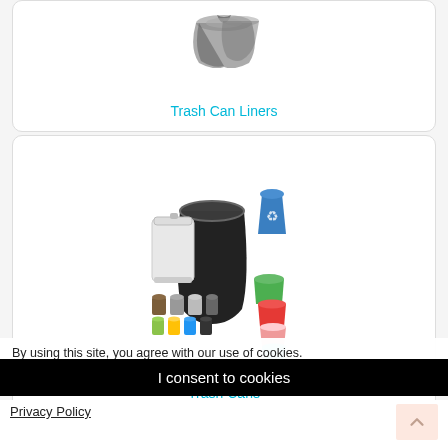[Figure (photo): Trash can liners product image at top of first card]
Trash Can Liners
[Figure (photo): Trash cans product image showing various sizes and colors including large black can, white step can, blue recycling bin, and small colorful bins]
Trash Cans
By using this site, you agree with our use of cookies.
I consent to cookies
Want to know more?
Privacy Policy